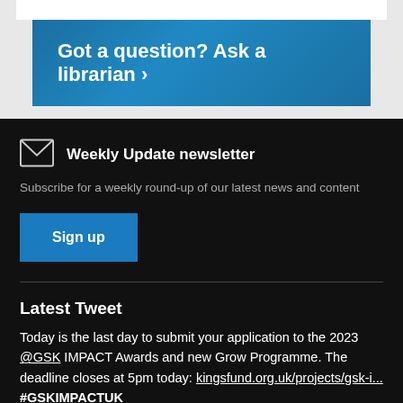[Figure (other): Blue banner button with text 'Got a question? Ask a librarian >']
Weekly Update newsletter
Subscribe for a weekly round-up of our latest news and content
Sign up
Latest Tweet
Today is the last day to submit your application to the 2023 @GSK IMPACT Awards and new Grow Programme. The deadline closes at 5pm today: kingsfund.org.uk/projects/gsk-i... #GSKIMPACTUK